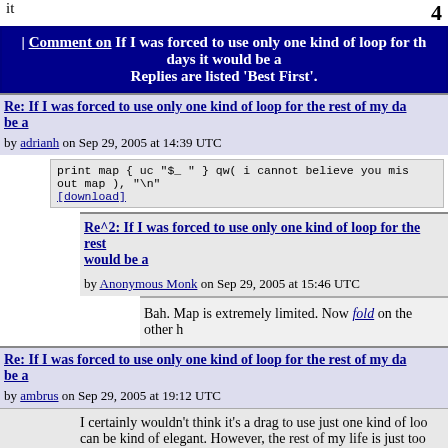it
4
| Comment on If I was forced to use only one kind of loop for the rest of my days it would be a
Replies are listed 'Best First'.
Re: If I was forced to use only one kind of loop for the rest of my days it would be a
by adrianh on Sep 29, 2005 at 14:39 UTC
print map { uc "$_ " } qw( i cannot believe you mis
out map ), "\n"
[download]
Re^2: If I was forced to use only one kind of loop for the rest... it would be a
by Anonymous Monk on Sep 29, 2005 at 15:46 UTC
Bah. Map is extremely limited. Now fold on the other h
Re: If I was forced to use only one kind of loop for the rest of my days it would be a
by ambrus on Sep 29, 2005 at 19:12 UTC
I certainly wouldn't think it's a drag to use just one kind of loo can be kind of elegant. However, the rest of my life is just too my opinion on which single loop is elegant varies with time. A wouldn't use a single loop just because I'm forced to it: I like